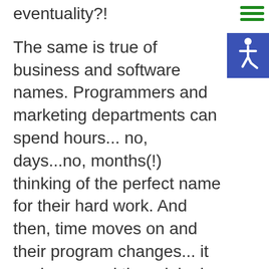eventuality?!
The same is true of business and software names. Programmers and marketing departments can spend hours... no, days...no, months(!) thinking of the perfect name for their hard work. And then, time moves on and their program changes... it evolves... and the original name just doesn't work as well anymore.
Well, for that (kind-of) reason, Microsoft have decided to do
[Figure (infographic): Hamburger menu icon (three green horizontal bars) in the top-right area of the page]
[Figure (infographic): Blue accessibility icon with wheelchair symbol in white]